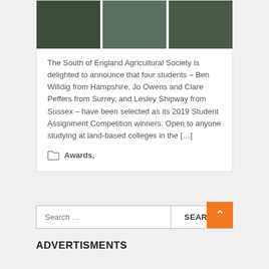[Figure (photo): Three photos side by side showing students holding certificates at an awards event with green background]
The South of England Agricultural Society is delighted to announce that four students – Ben Willdig from Hampshire, Jo Owens and Clare Peffers from Surrey, and Lesley Shipway from Sussex – have been selected as its 2019 Student Assignment Competition winners. Open to anyone studying at land-based colleges in the […]
Awards,
Search …
ADVERTISMENTS